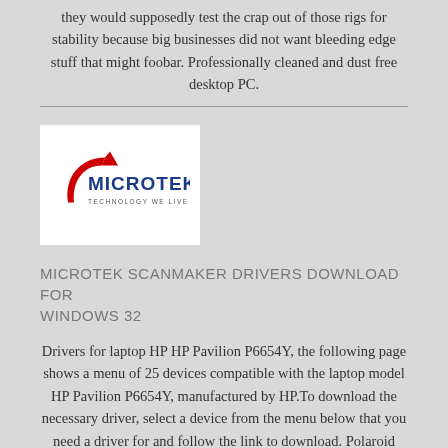they would supposedly test the crap out of those rigs for stability because big businesses did not want bleeding edge stuff that might foobar. Professionally cleaned and dust free desktop PC.
[Figure (logo): Microtek logo — red arrow swoosh with MICROTEK in blue bold text and 'TECHNOLOGY WE LIVE' tagline beneath]
MICROTEK SCANMAKER DRIVERS DOWNLOAD FOR WINDOWS 32
Drivers for laptop HP HP Pavilion P6654Y, the following page shows a menu of 25 devices compatible with the laptop model HP Pavilion P6654Y, manufactured by HP.To download the necessary driver, select a device from the menu below that you need a driver for and follow the link to download. Polaroid prints were